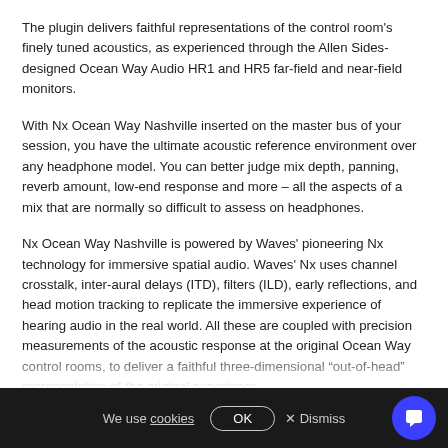The plugin delivers faithful representations of the control room's finely tuned acoustics, as experienced through the Allen Sides-designed Ocean Way Audio HR1 and HR5 far-field and near-field monitors.
With Nx Ocean Way Nashville inserted on the master bus of your session, you have the ultimate acoustic reference environment over any headphone model. You can better judge mix depth, panning, reverb amount, low-end response and more – all the aspects of a mix that are normally so difficult to assess on headphones.
Nx Ocean Way Nashville is powered by Waves' pioneering Nx technology for immersive spatial audio. Waves' Nx uses channel crosstalk, inter-aural delays (ITD), filters (ILD), early reflections, and head motion tracking to replicate the immersive experience of hearing audio in the real world. All these are coupled with precision measurements of the acoustic response at the original Ocean Way control rooms, to deliver a faithful three-dimensional “out-of-head” representation of the original experience.
Developed by Waves Audio in collaboration with Ocean Way Nashville Studios at Belmont University and Ocean Way Audio, Nx Ocean Way Nashville…
We use cookies  OK  × Dismiss